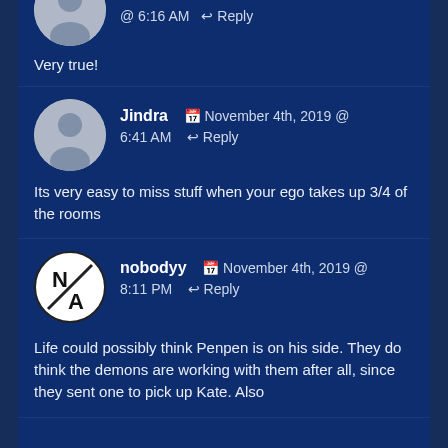@ 6:16 AM  Reply
Very true!
Jindra  November 4th, 2019 @ 6:41 AM  Reply
Its very easy to miss stuff when your ego takes up 3/4 of the rooms
[Figure (illustration): User avatar with N/A logo (circle with N/A text crossed by diagonal line)]
nobodyy  November 4th, 2019 @ 8:11 PM  Reply
Life could possibly think Penpen is on his side. They do think the demons are working with them after all, since they sent one to pick up Kate. Also